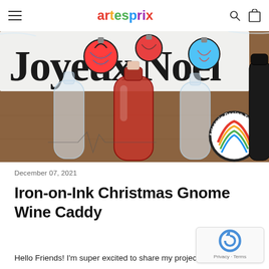artesprix
[Figure (photo): Photo of wine bottles and a 'Joyeux Noël' Christmas sign on a wooden table, with Artesprix Design Team logo visible in the bottom right corner]
December 07, 2021
Iron-on-Ink Christmas Gnome Wine Caddy
Hello Friends! I'm super excited to share my project with you...